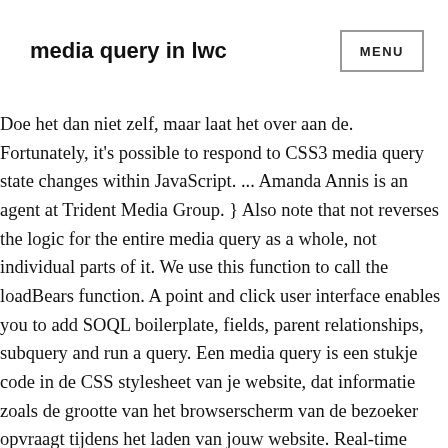media query in lwc
Doe het dan niet zelf, maar laat het over aan de. Fortunately, it's possible to respond to CSS3 media query state changes within JavaScript. ... Amanda Annis is an agent at Trident Media Group. } Also note that not reverses the logic for the entire media query as a whole, not individual parts of it. We use this function to call the loadBears function. A point and click user interface enables you to add SOQL boilerplate, fields, parent relationships, subquery and run a query. Een media query is een stukje code in de CSS stylesheet van je website, dat informatie zoals de grootte van het browserscherm van de bezoeker opvraagt tijdens het laden van jouw website. Real-time School Stories for Lord Wandsworth College, curating news, photos,